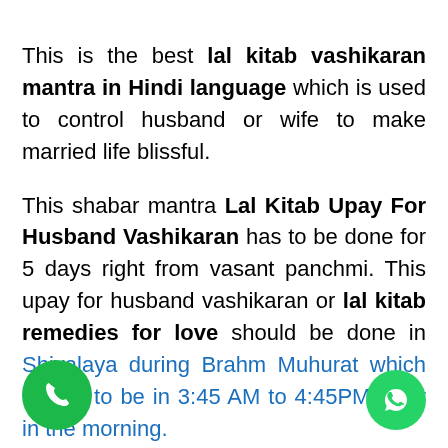This is the best lal kitab vashikaran mantra in Hindi language which is used to control husband or wife to make married life blissful. This shabar mantra Lal Kitab Upay For Husband Vashikaran has to be done for 5 days right from vasant panchmi. This upay for husband vashikaran or lal kitab remedies for love should be done in Shivalaya during Brahm Muhurat which is said to be in 3:45 AM to 4:45PM early in the morning.
This lal kitab remedies for good relationship mantra should be chanted 108 times regular for 5 days with Rudraksha Beads Mala.